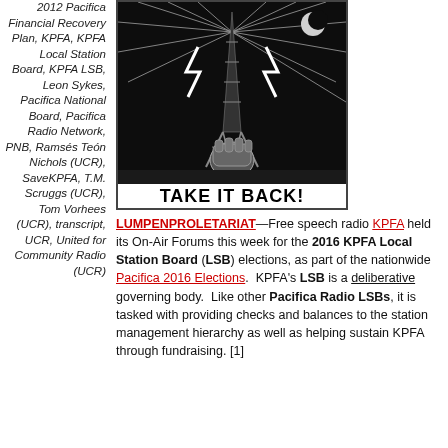2012 Pacifica Financial Recovery Plan, KPFA, KPFA Local Station Board, KPFA LSB, Leon Sykes, Pacifica National Board, Pacifica Radio Network, PNB, Ramsés Teón Nichols (UCR), SaveKPFA, T.M. Scruggs (UCR), Tom Vorhees (UCR), transcript, UCR, United for Community Radio (UCR)
[Figure (illustration): Black and white woodcut-style illustration of a radio tower with a fist at its base, lightning bolts radiating outward, with bold text reading 'TAKE IT BACK!' at the bottom.]
LUMPENPROLETARIAT—Free speech radio KPFA held its On-Air Forums this week for the 2016 KPFA Local Station Board (LSB) elections, as part of the nationwide Pacifica 2016 Elections. KPFA's LSB is a deliberative governing body. Like other Pacifica Radio LSBs, it is tasked with providing checks and balances to the station management hierarchy as well as helping sustain KPFA through fundraising. [1]